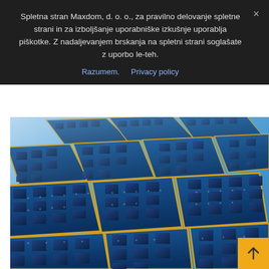Spletna stran Maxdom, d. o. o., za pravilno delovanje spletne strani in za izboljšanje uporabniške izkušnje uporablja piškotke. Z nadaljevanjem brskanja na spletni strani soglašate z uporbo le-teh.
Razumem.   Privacy policy
[Figure (photo): Close-up aerial perspective photo of blue solar panels arranged in a grid pattern with black circuit-like lines and metallic separators between panel sections]